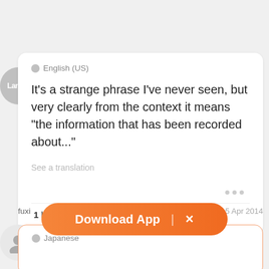naerylan
5 Apr 2014
English (US)
It's a strange phrase I've never seen, but very clearly from the context it means "the information that has been recorded about..."
See a translation
1 like
fuxi
5 Apr 2014
Japanese
[Figure (screenshot): Download App button banner with orange gradient background, showing 'Download App | X' text in white]